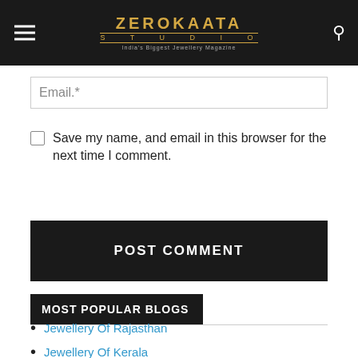ZEROKAATA STUDIO — India's Biggest Jewellery Magazine
Email.*
Save my name, and email in this browser for the next time I comment.
POST COMMENT
MOST POPULAR BLOGS
Jewellery Of Rajasthan
Jewellery Of Kerala
Goan Traditional Jewellery